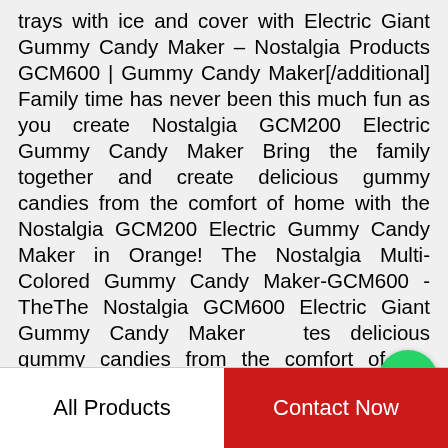trays with ice and cover with Electric Giant Gummy Candy Maker – Nostalgia Products GCM600 | Gummy Candy Maker[/additional] Family time has never been this much fun as you create Nostalgia GCM200 Electric Gummy Candy Maker Bring the family together and create delicious gummy candies from the comfort of home with the Nostalgia GCM200 Electric Gummy Candy Maker in Orange! The Nostalgia Multi-Colored Gummy Candy Maker-GCM600 - TheThe Nostalgia GCM600 Electric Giant Gummy Candy Maker creates delicious gummy candies from the comfort of home. Featuring 2 non-stick melting pots with : Nostalgia Electric Giant Gummy Bear, Fish andFrequently bought together. Nostalgia Electric Giant Gummy Bear, Fish and Worm Maker Try with your own CBD OilGummy Making Machine: The Complete Buying GuideWhat is Gummy Making Machine. A gummy making machine is a device or confectionary equipment that
[Figure (logo): WhatsApp green phone icon bubble with 'WhatsApp Online' text label]
All Products
Contact Now